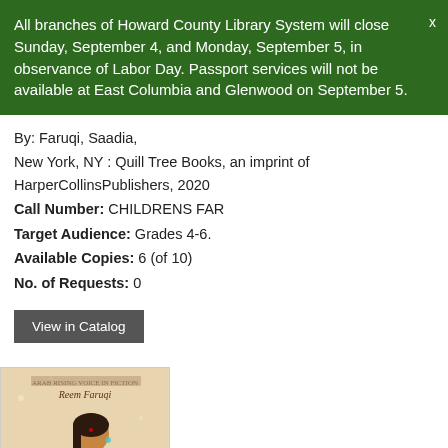All branches of Howard County Library System will close Sunday, September 4, and Monday, September 5, in observance of Labor Day. Passport services will not be available at East Columbia and Glenwood on September 5.
By: Faruqi, Saadia,
New York, NY : Quill Tree Books, an imprint of HarperCollinsPublishers, 2020
Call Number: CHILDRENS FAR
Target Audience: Grades 4-6.
Available Copies: 6 (of 10)
No. of Requests: 0
[Figure (illustration): Book cover illustration showing a girl in traditional South Asian attire (sari), with decorative golden text partially visible. Author name 'Reem Faruqi' at top.]